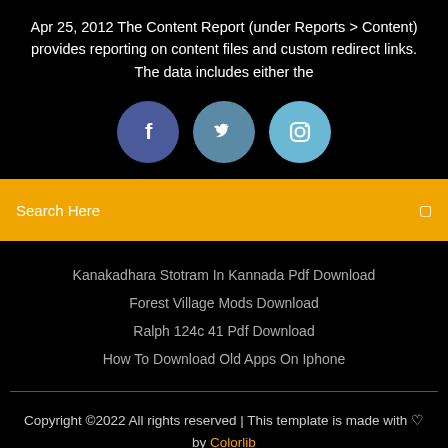Apr 25, 2012 The Content Report (under Reports > Content) provides reporting on content files and custom redirect links. The data includes either the
[Figure (illustration): Three social media icons as colored circles: Facebook (blue-purple), Twitter (teal-blue), Instagram (light blue)]
Search Here
Kanakadhara Stotram In Kannada Pdf Download
Forest Village Mods Download
Ralph 124c 41 Pdf Download
How To Download Old Apps On Iphone
Copyright ©2022 All rights reserved | This template is made with ♡ by Colorlib